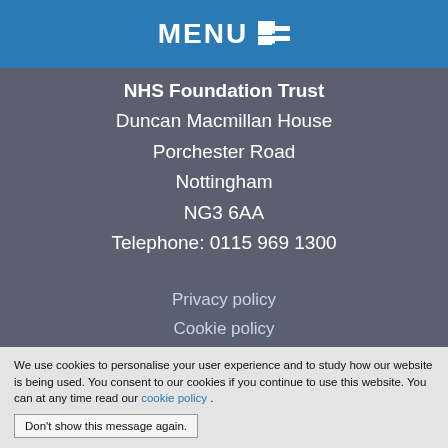MENU
NHS Foundation Trust
Duncan Macmillan House
Porchester Road
Nottingham
NG3 6AA
Telephone: 0115 969 1300
Privacy policy
Cookie policy
Terms and conditions
We use cookies to personalise your user experience and to study how our website is being used. You consent to our cookies if you continue to use this website. You can at any time read our cookie policy .
Don't show this message again.